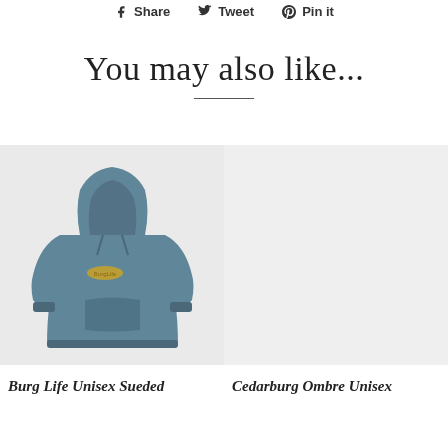f Share   Tweet   Pin it
You may also like...
[Figure (photo): Blue/teal unisex sueded fleece hoodie with small yellow graphic logo on the chest, displayed on a light gray background.]
[Figure (photo): Product image placeholder on light gray background (no product visible).]
Burg Life Unisex Sueded
Cedarburg Ombre Unisex